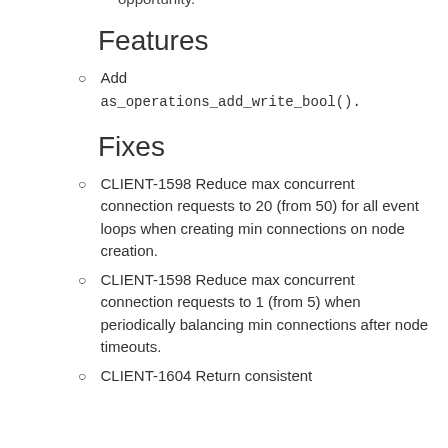opportunity.
Features
Add as_operations_add_write_bool().
Fixes
CLIENT-1598 Reduce max concurrent connection requests to 20 (from 50) for all event loops when creating min connections on node creation.
CLIENT-1598 Reduce max concurrent connection requests to 1 (from 5) when periodically balancing min connections after node timeouts.
CLIENT-1604 Return consistent